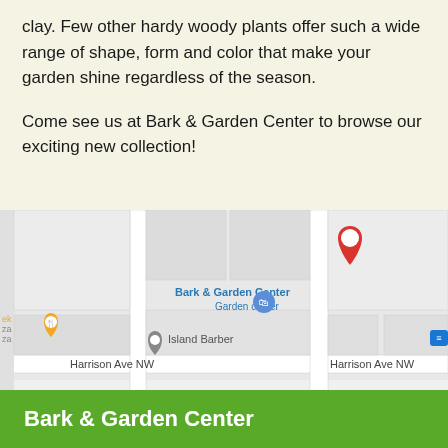clay. Few other hardy woody plants offer such a wide range of shape, form and color that make your garden shine regardless of the season.

Come see us at Bark & Garden Center to browse our exciting new collection!
[Figure (map): Google Maps screenshot showing Bark & Garden Center location on Harrison Ave NW, with a red location pin marker, and nearby labels including Island Barber, a restaurant/food pin, and Heritage Family Medicine partially visible at bottom.]
Bark & Garden Center